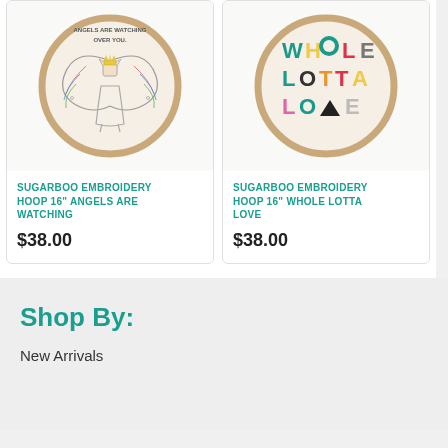[Figure (photo): Embroidery hoop with angel illustration and text 'Angels are watching over you']
SUGARBOO EMBROIDERY HOOP 16" ANGELS ARE WATCHING
$38.00
[Figure (photo): Embroidery hoop with colorful text 'WHOLE LOTTA LOVE']
SUGARBOO EMBROIDERY HOOP 16" WHOLE LOTTA LOVE
$38.00
Shop By:
New Arrivals